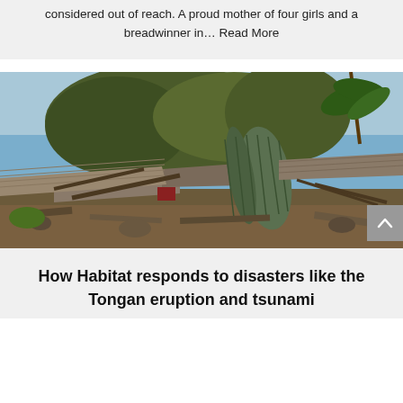considered out of reach. A proud mother of four girls and a breadwinner in… Read More
[Figure (photo): Disaster aftermath photo showing destroyed buildings, debris, a large overturned cylindrical metal tank, fallen trees, and rubble scattered across the ground, likely from the Tongan eruption and tsunami.]
How Habitat responds to disasters like the Tongan eruption and tsunami